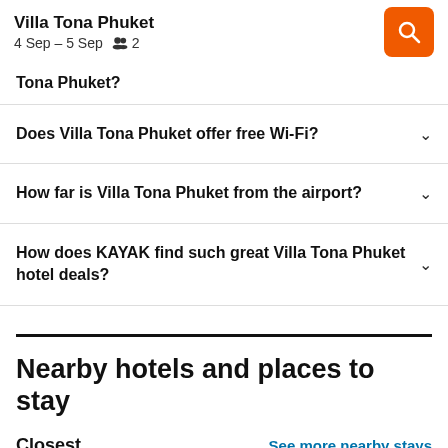Villa Tona Phuket
4 Sep – 5 Sep  👥 2
Tona Phuket?
Does Villa Tona Phuket offer free Wi-Fi?
How far is Villa Tona Phuket from the airport?
How does KAYAK find such great Villa Tona Phuket hotel deals?
Nearby hotels and places to stay
Closest
See more nearby stays